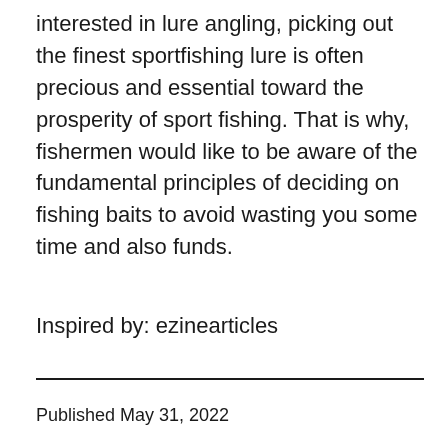interested in lure angling, picking out the finest sportfishing lure is often precious and essential toward the prosperity of sport fishing. That is why, fishermen would like to be aware of the fundamental principles of deciding on fishing baits to avoid wasting you some time and also funds.
Inspired by: ezinearticles
Published May 31, 2022